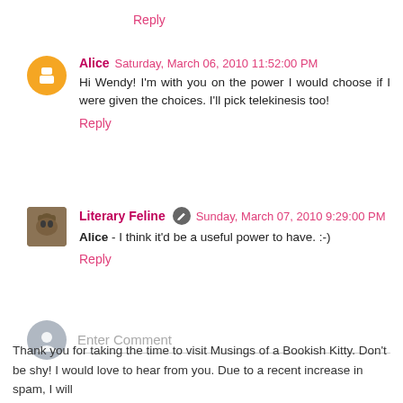Reply
Alice  Saturday, March 06, 2010 11:52:00 PM
Hi Wendy! I'm with you on the power I would choose if I were given the choices. I'll pick telekinesis too!
Reply
Literary Feline  Sunday, March 07, 2010 9:29:00 PM
Alice - I think it'd be a useful power to have. :-)
Reply
Enter Comment
Thank you for taking the time to visit Musings of a Bookish Kitty. Don't be shy! I would love to hear from you. Due to a recent increase in spam, I will